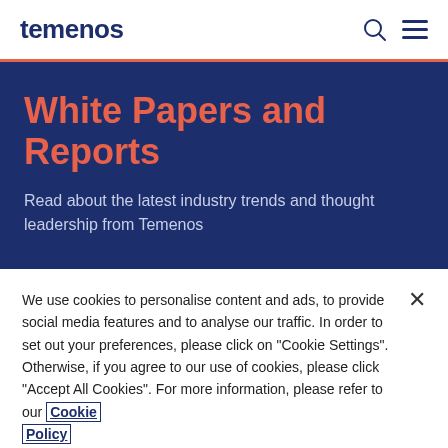temenos
White Papers and Reports
Read about the latest industry trends and thought leadership from Temenos
We use cookies to personalise content and ads, to provide social media features and to analyse our traffic. In order to set out your preferences, please click on "Cookie Settings". Otherwise, if you agree to our use of cookies, please click "Accept All Cookies". For more information, please refer to our Cookie Policy